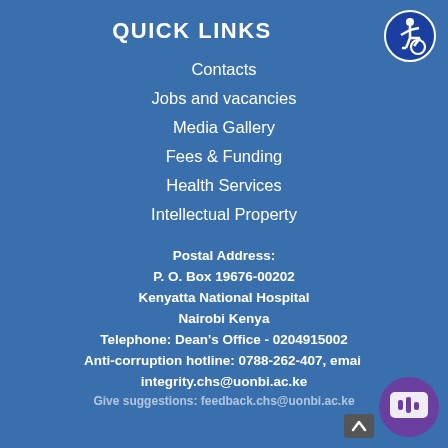QUICK LINKS
Contacts
Jobs and vacancies
Media Gallery
Fees & Funding
Health Services
Intellectual Property
Postal Address:
P. O. Box 19676-00202
Kenyatta National Hospital
Nairobi Kenya
Telephone: Dean's Office - 0204915002
Anti-corruption hotline: 0788-262-407, email integrity.chs@uonbi.ac.ke
Give suggestions: feedback.chs@uonbi.ac.ke